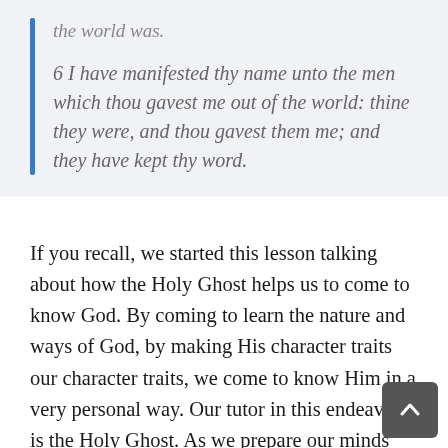the world was.
6 I have manifested thy name unto the men which thou gavest me out of the world: thine they were, and thou gavest them me; and they have kept thy word.
If you recall, we started this lesson talking about how the Holy Ghost helps us to come to know God. By coming to learn the nature and ways of God, by making His character traits our character traits, we come to know Him in a very personal way. Our tutor in this endeavor is the Holy Ghost. As we prepare our minds and our hearts to be receptive to God's truths, the Holy Ghost teaches us what we